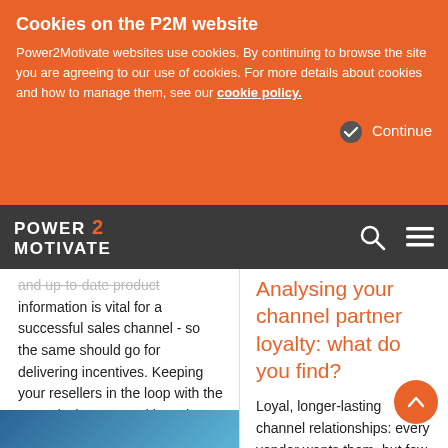Cookies on the P2M website
Power2Motivate websites use cookies. By continuing to browse the site you are agreeing to our use of cookies. For more details about cookies and how to manage them, see our cookie policy.
Continue
[Figure (logo): Power2Motivate logo with orange '2' in dark navigation bar, accompanied by search and menu icons]
and up-to-date product information is vital for a successful sales channel - so the same should go for delivering incentives. Keeping your resellers in the loop with the rewards they get and how they get them is the key to a comprehensive Channel Partner Program. .
08.03.2018
Analysing your channel partner loyalty: what do you find?
Loyal, longer-lasting channel relationships: every vendor wants them, but few ever step back to assess their partnerships' strengths and weaknesses. Using Power2Motivate's online platform, it's easy to